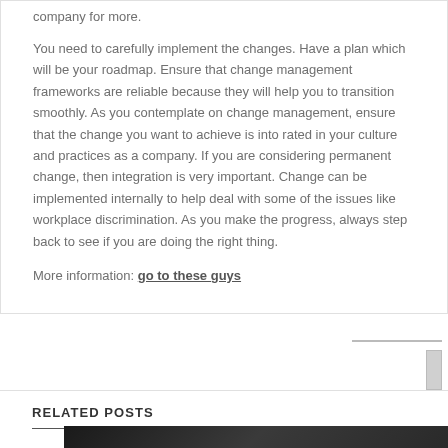company for more.
You need to carefully implement the changes. Have a plan which will be your roadmap. Ensure that change management frameworks are reliable because they will help you to transition smoothly. As you contemplate on change management, ensure that the change you want to achieve is into rated in your culture and practices as a company. If you are considering permanent change, then integration is very important. Change can be implemented internally to help deal with some of the issues like workplace discrimination. As you make the progress, always step back to see if you are doing the right thing.
More information: go to these guys
RELATED POSTS
[Figure (photo): Dark/chalkboard style image preview visible at bottom of page]